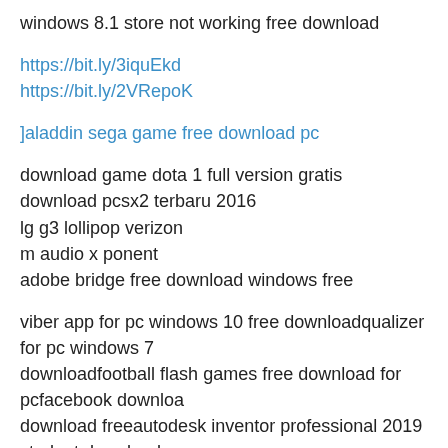windows 8.1 store not working free download
https://bit.ly/3iquEkd
https://bit.ly/2VRepoK
]aladdin sega game free download pc
download game dota 1 full version gratis
download pcsx2 terbaru 2016
lg g3 lollipop verizon
m audio x ponent
adobe bridge free download windows free
viber app for pc windows 10 free downloadqualizer for pc windows 7
downloadfootball flash games free download for pcfacebook downloa
download freeautodesk inventor professional 2019 student download
cracked version free download
https://bit.ly/3hSqItv
https://bit.ly/3wSaHbg
]download game booster for windows 10
ifunbox download